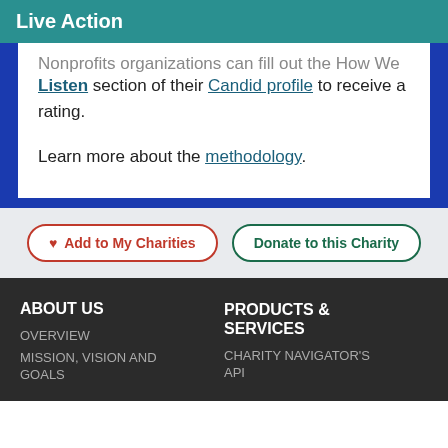Live Action
Nonprofits organizations can fill out the How We Listen section of their Candid profile to receive a rating.

Learn more about the methodology.
Add to My Charities   Donate to this Charity
ABOUT US
OVERVIEW
MISSION, VISION AND GOALS
PRODUCTS & SERVICES
CHARITY NAVIGATOR'S API